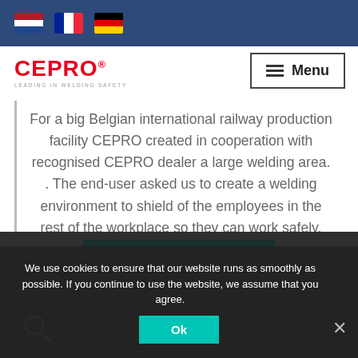[Figure (screenshot): Top navigation bar with Dutch, French, and German flags]
[Figure (logo): CEPRO logo - red text with tagline 'LEADING IN WELDING SAFETY']
[Figure (other): Menu button with hamburger icon]
For a big Belgian international railway production facility CEPRO created in cooperation with recognised CEPRO dealer a large welding area. . The end-user asked us to create a welding environment to shield of the employees in the rest of the workplace so they can work safely.
We use cookies to ensure that our website runs as smoothly as possible. If you continue to use the website, we assume that you agree.